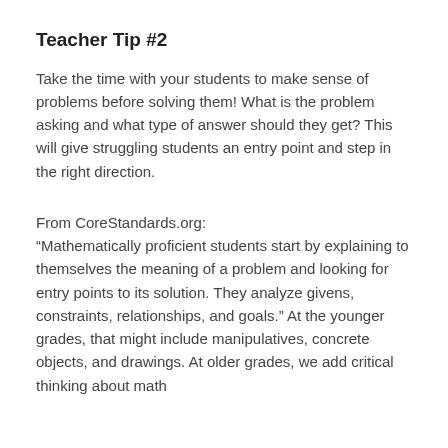Teacher Tip #2
Take the time with your students to make sense of problems before solving them! What is the problem asking and what type of answer should they get? This will give struggling students an entry point and step in the right direction.
From CoreStandards.org: “Mathematically proficient students start by explaining to themselves the meaning of a problem and looking for entry points to its solution. They analyze givens, constraints, relationships, and goals.” At the younger grades, that might include manipulatives, concrete objects, and drawings. At older grades, we add critical thinking about math